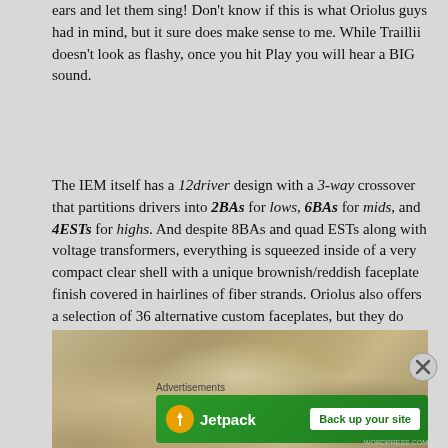ears and let them sing!  Don't know if this is what Oriolus guys had in mind, but it sure does make sense to me.  While Traillii doesn't look as flashy, once you hit Play you will hear a BIG sound.
The IEM itself has a 12driver design with a 3-way crossover that partitions drivers into 2BAs for lows, 6BAs for mids, and 4ESTs for highs.  And despite 8BAs and quad ESTs along with voltage transformers, everything is squeezed inside of a very compact clear shell with a unique brownish/reddish faceplate finish covered in hairlines of fiber strands.  Oriolus also offers a selection of 36 alternative custom faceplates, but they do have a warning it will delay availability of Traillii if you decide to customize it.
[Figure (photo): Close-up photo of what appears to be pebbles or stones on a surface, brownish/tan tones]
Advertisements
[Figure (infographic): Jetpack advertisement banner with logo and 'Back up your site' button on green background]